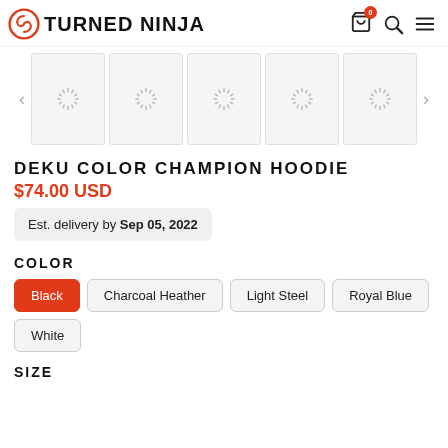TURNED NINJA
[Figure (screenshot): Product image carousel with 5 placeholder loading spinners, left and right arrows]
DEKU COLOR CHAMPION HOODIE
$74.00 USD
Est. delivery by Sep 05, 2022
COLOR
Black
Charcoal Heather
Light Steel
Royal Blue
White
SIZE